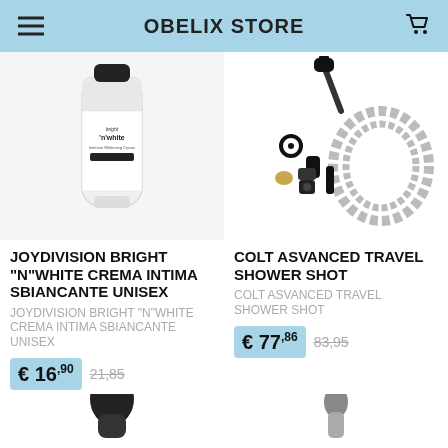OBELIX STORE
[Figure (photo): Product photo of Joydivision Bright N White intimate whitening cream tube]
[Figure (photo): Product photo of Colt Advanced Travel Shower Shot kit with hose and attachments]
JOYDIVISION BRIGHT "N"WHITE CREMA INTIMA SBIANCANTE UNISEX
COLT ASVANCED TRAVEL SHOWER SHOT
JOYDIVISION BRIGHT "N"WHITE CREMA INTIMA SBIANCANTE UNISEX
COLT ASVANCED TRAVEL SHOWER SHOT
€ 16,90  21,85
€ 77,86  83,95
[Figure (photo): Partially visible product at bottom left]
[Figure (photo): Partially visible product at bottom right]